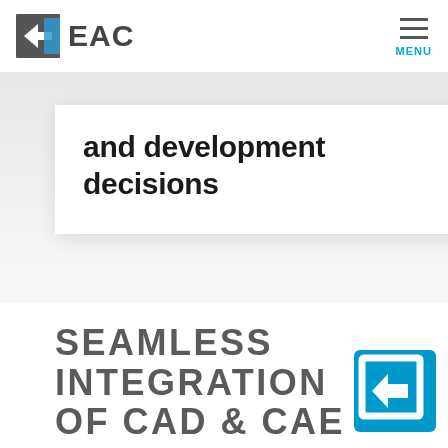[Figure (logo): EAC logo: dark grey square with white arrow/chevron shape on left, blue triangle on right, text 'EAC' in dark grey bold letters]
MENU
and development decisions
desig proc and c chan
SEAMLESS INTEGRATION OF CAD & CAE
[Figure (logo): Blue square icon with white EAC arrow/chevron logo mark]